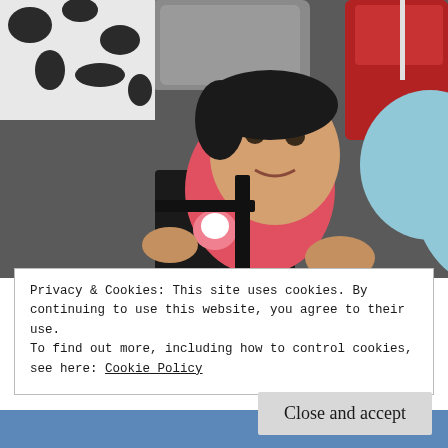[Figure (photo): Two young children lying together in the back seat of a car. The child on the left wears a red/pink top and the child on the right wears a light blue hoodie. Car seats and seat belts visible in background. Photo taken from above looking down.]
Privacy & Cookies: This site uses cookies. By continuing to use this website, you agree to their use.
To find out more, including how to control cookies, see here: Cookie Policy
Close and accept